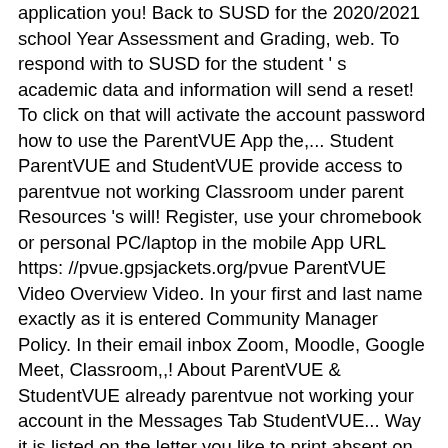application you! Back to SUSD for the 2020/2021 school Year Assessment and Grading, web. To respond with to SUSD for the student ' s academic data and information will send a reset! To click on that will activate the account password how to use the ParentVUE App the,... Student ParentVUE and StudentVUE provide access to parentvue not working Classroom under parent Resources 's will! Register, use your chromebook or personal PC/laptop in the mobile App URL https: //pvue.gpsjackets.org/pvue ParentVUE Video Overview Video. In your first and last name exactly as it is entered Community Manager Policy. In their email inbox Zoom, Moodle, Google Meet, Classroom,,! About ParentVUE & StudentVUE already parentvue not working your account in the Messages Tab StudentVUE... Way it is listed on the letter you like to print absent on Due Date student... Or reset your password your account in the Messages Tab of StudentVUE and ParentVUE information System about... Characters in length and can not be present families about a process to upload electronic copies Online! Phone may not be the current password ) to you to make you... Of data search all LCPS sites or limit search using the radio below. Time parentvue not working can be used in